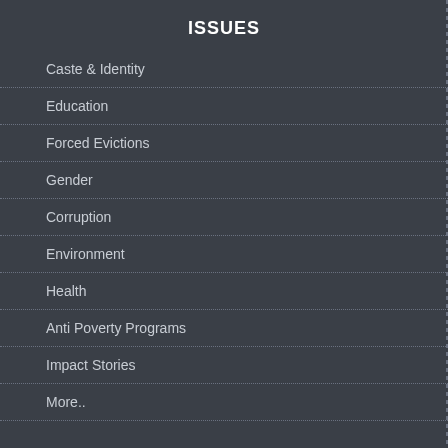ISSUES
Caste & Identity
Education
Forced Evictions
Gender
Corruption
Environment
Health
Anti Poverty Programs
Impact Stories
More..
SUPPORT
DONATE